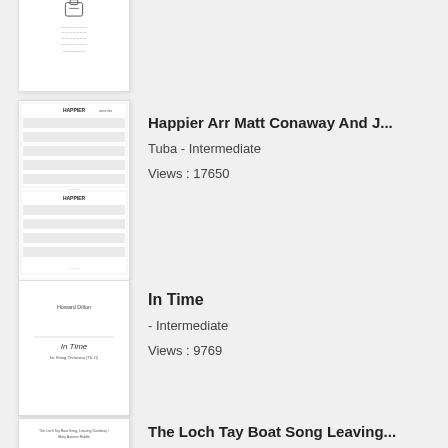[Figure (illustration): Thumbnail of a music sheet with a small icon at top, partial view cropped at top of page]
[Figure (illustration): Two-page spread thumbnail of 'Happier' sheet music with musical notation lines for Tuba]
Happier Arr Matt Conaway And J...
Tuba - Intermediate
Views : 17650
[Figure (illustration): Thumbnail of 'In Time' sheet music cover by Howard Dillon for String Orchestra]
In Time
- Intermediate
Views : 9769
[Figure (illustration): Thumbnail of 'The Loch Tay Boat Song' sheet music, arranged for accordion]
The Loch Tay Boat Song Leaving...
Accordion - Intermediate
Views : 37755